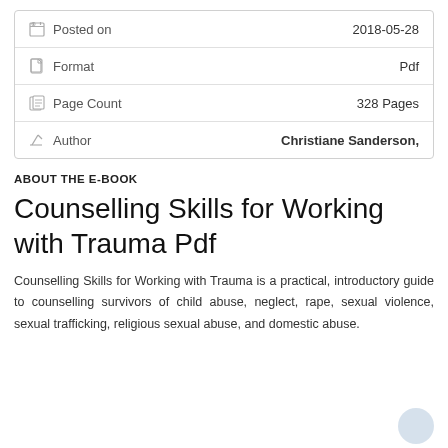| Field | Value |
| --- | --- |
| Posted on | 2018-05-28 |
| Format | Pdf |
| Page Count | 328 Pages |
| Author | Christiane Sanderson, |
ABOUT THE E-BOOK
Counselling Skills for Working with Trauma Pdf
Counselling Skills for Working with Trauma is a practical, introductory guide to counselling survivors of child abuse, neglect, rape, sexual violence, sexual trafficking, religious sexual abuse, and domestic abuse.